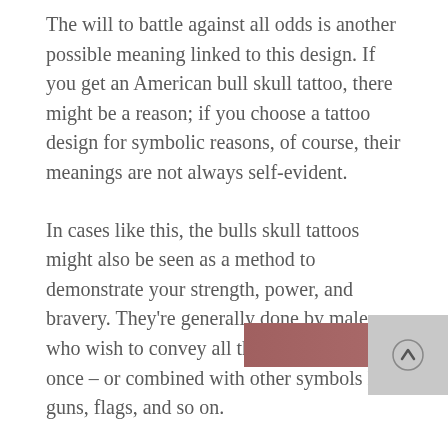The will to battle against all odds is another possible meaning linked to this design. If you get an American bull skull tattoo, there might be a reason; if you choose a tattoo design for symbolic reasons, of course, their meanings are not always self-evident.
In cases like this, the bulls skull tattoos might also be seen as a method to demonstrate your strength, power, and bravery. They're generally done by males who wish to convey all three sentiments at once – or combined with other symbols like guns, flags, and so on.
For almost two centuries, the bull skull design has been popular among males from Western cultures; other frequent motifs include warfare, and masculinity (in terms of physical power). That is why,
[Figure (other): A 'VIEW IMAGES' button overlay bar with a close (x) button and a scroll-up arrow button on the right side]